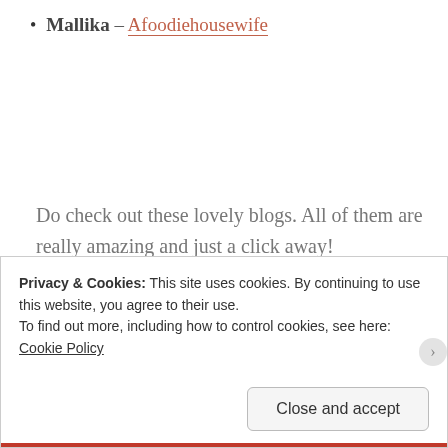Mallika – Afoodiehousewife
Do check out these lovely blogs. All of them are really amazing and just a click away!
spoonful o' questions – for the Nominees
Privacy & Cookies: This site uses cookies. By continuing to use this website, you agree to their use.
To find out more, including how to control cookies, see here: Cookie Policy
Close and accept